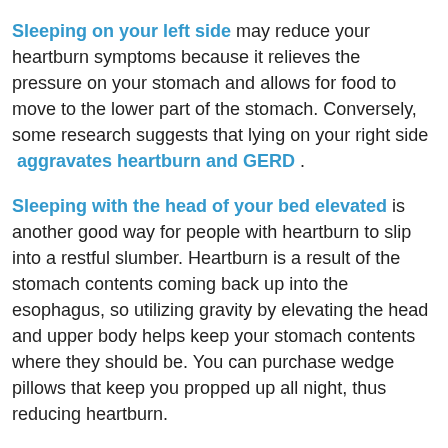Sleeping on your left side may reduce your heartburn symptoms because it relieves the pressure on your stomach and allows for food to move to the lower part of the stomach. Conversely, some research suggests that lying on your right side aggravates heartburn and GERD .
Sleeping with the head of your bed elevated is another good way for people with heartburn to slip into a restful slumber. Heartburn is a result of the stomach contents coming back up into the esophagus, so utilizing gravity by elevating the head and upper body helps keep your stomach contents where they should be. You can purchase wedge pillows that keep you propped up all night, thus reducing heartburn.
Additionally, you can opt to raise the top two posts of your bed frame to elevate your upper body when you sleep. Bed